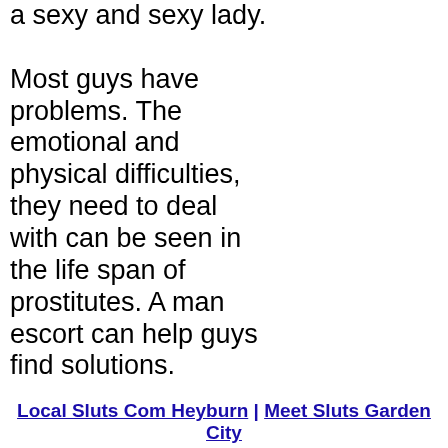a sexy and sexy lady.

Most guys have problems. The emotional and physical difficulties, they need to deal with can be seen in the life span of prostitutes. A man escort can help guys find solutions.
Local Sluts Com Heyburn | Meet Sluts Garden City